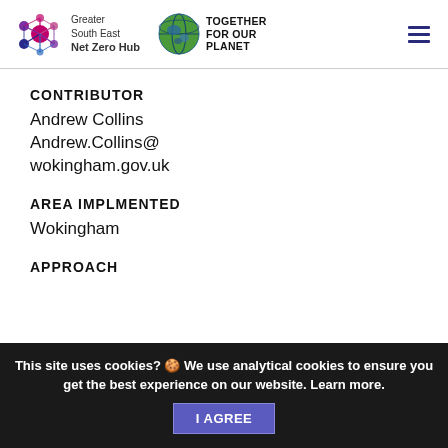Greater South East Net Zero Hub | Together For Our Planet
CONTRIBUTOR
Andrew Collins
Andrew.Collins@wokingham.gov.uk
AREA IMPLMENTED
Wokingham
APPROACH
This site uses cookies? 🍪 We use analytical cookies to ensure you get the best experience on our website. Learn more. I AGREE